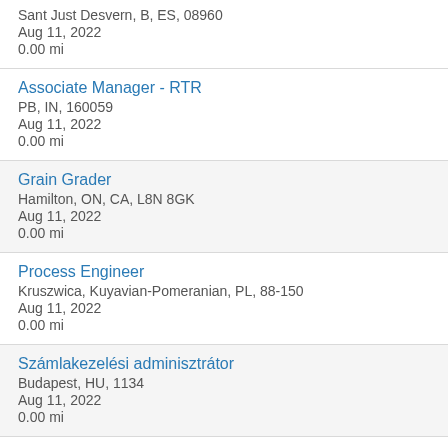Sant Just Desvern, B, ES, 08960
Aug 11, 2022
0.00 mi
Associate Manager - RTR
PB, IN, 160059
Aug 11, 2022
0.00 mi
Grain Grader
Hamilton, ON, CA, L8N 8GK
Aug 11, 2022
0.00 mi
Process Engineer
Kruszwica, Kuyavian-Pomeranian, PL, 88-150
Aug 11, 2022
0.00 mi
Számlakezelési adminisztrátor
Budapest, HU, 1134
Aug 11, 2022
0.00 mi